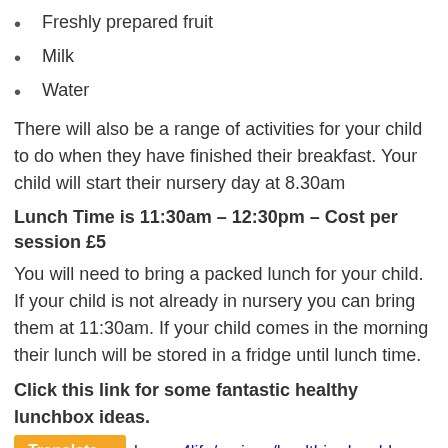Freshly prepared fruit
Milk
Water
There will also be a range of activities for your child to do when they have finished their breakfast. Your child will start their nursery day at 8.30am
Lunch Time is 11:30am – 12:30pm – Cost per session £5
You will need to bring a packed lunch for your child. If your child is not already in nursery you can bring them at 11:30am. If your child comes in the morning their lunch will be stored in a fridge until lunch time.
Click this link for some fantastic healthy lunchbox ideas.
https://www.nhs.uk/change4life/recipes/healthier-lunchboxes